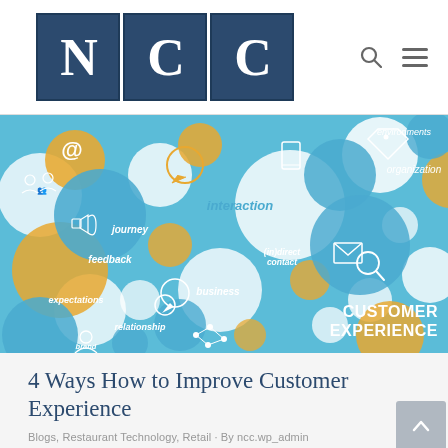NCC
[Figure (illustration): Customer Experience infographic with colorful circles (blue, orange, white) containing icons and words: interaction, journey, feedback, expectations, relationship, brand touchpoints, (in)direct contact, organization, environments, business. Text 'CUSTOMER EXPERIENCE' in bottom right corner.]
4 Ways How to Improve Customer Experience
Blogs, Restaurant Technology, Retail · By ncc.wp_admin